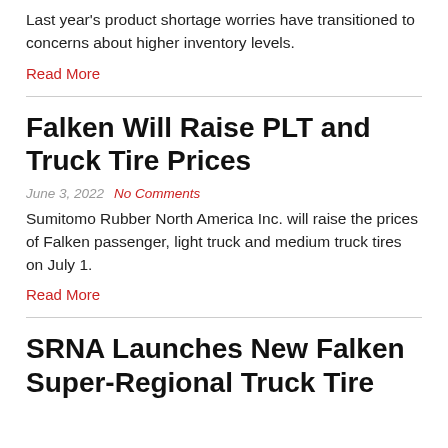Last year's product shortage worries have transitioned to concerns about higher inventory levels.
Read More
Falken Will Raise PLT and Truck Tire Prices
June 3, 2022   No Comments
Sumitomo Rubber North America Inc. will raise the prices of Falken passenger, light truck and medium truck tires on July 1.
Read More
SRNA Launches New Falken Super-Regional Truck Tire